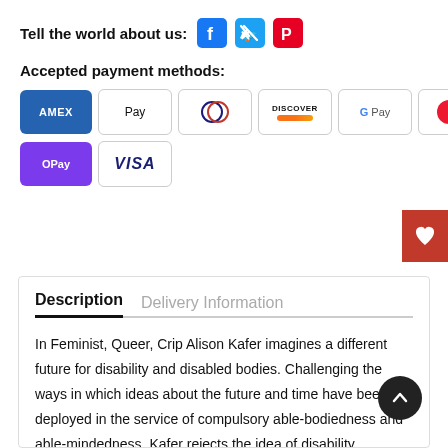Tell the world about us:
[Figure (logo): Social media share icons: Facebook, Twitter, Pinterest]
Accepted payment methods:
[Figure (infographic): Payment method badges: AMEX, Apple Pay, Diners Club, Discover, Google Pay, Mastercard (two variants), OPay, VISA]
Description   Delivery Information
In Feminist, Queer, Crip Alison Kafer imagines a different future for disability and disabled bodies. Challenging the ways in which ideas about the future and time have been deployed in the service of compulsory able-bodiedness and able-mindedness, Kafer rejects the idea of disability